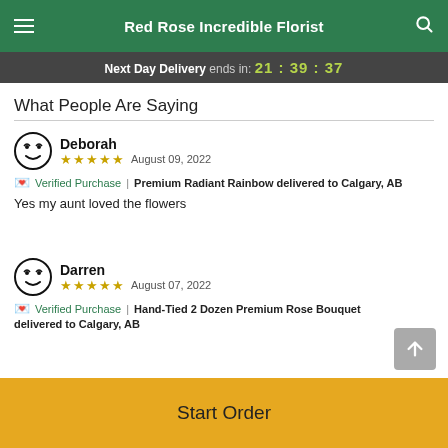Red Rose Incredible Florist
Next Day Delivery ends in: 21:39:37
What People Are Saying
Deborah
★★★★★  August 09, 2022
🏷 Verified Purchase | Premium Radiant Rainbow delivered to Calgary, AB
Yes my aunt loved the flowers
Darren
★★★★★  August 07, 2022
🏷 Verified Purchase | Hand-Tied 2 Dozen Premium Rose Bouquet delivered to Calgary, AB
Start Order